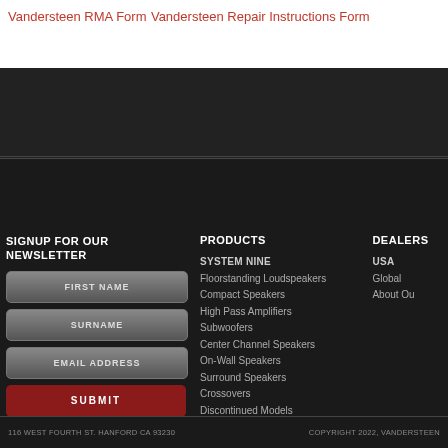Vandersteen RMA Form
Vandersteen Repair Instructions Form
SIGNUP FOR OUR NEWSLETTER
FIRST NAME
SURNAME
EMAIL ADDRESS
SUBMIT
PRODUCTS
SYSTEM NINE
Floorstanding Loudspeakers
Compact Speakers
High Pass Amplifiers
Subwoofers
Center Channel Speakers
On-Wall Speakers
Surround Speakers
Crossovers
Discontinued Models
DEALERS
USA
Global
About Ou
116 WEST FOURTH ST. HANFORD CA 93230
COPYRIGHT 2022, VANDERSTEEN